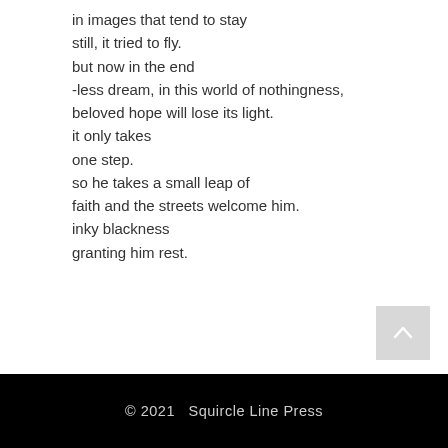in images that tend to stay
still, it tried to fly.
but now in the end
-less dream, in this world of nothingness,
beloved hope will lose its light.
it only takes
one step.
so he takes a small leap of
faith and the streets welcome him.
inky blackness
granting him rest.
[Figure (other): A scroll-to-top button: light gray square with a white upward-pointing chevron/caret icon]
© 2021   Squircle Line Press